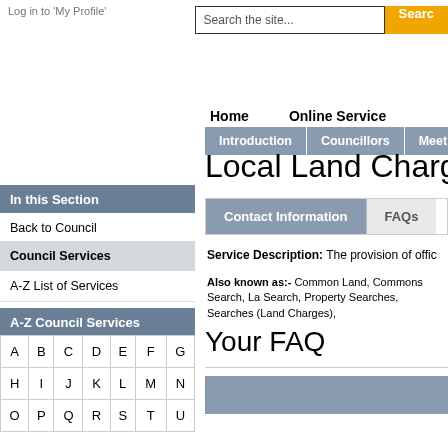Log in to 'My Profile'
Search the site... Search
In this Section
Back to Council
Council Services
A-Z List of Services
A-Z Council Services
| A | B | C | D | E | F | G |
| H | I | J | K | L | M | N |
| O | P | Q | R | S | T | U |
Home    Online Service
Introduction | Councillors | Meetings
Local Land Charges
Contact Information    FAQs
Service Description: The provision of offic
Also known as:- Common Land, Commons Search, La Search, Property Searches, Searches (Land Charges),
Your FAQ